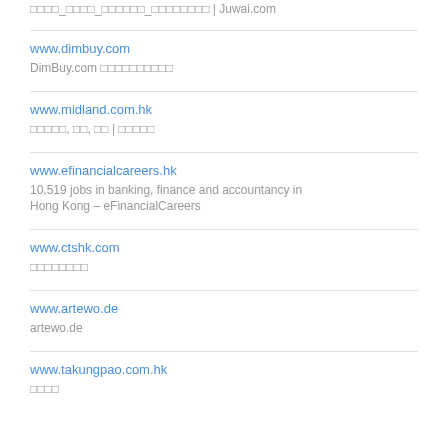www.juwai.com
□□□□_□□□□_□□□□□□_□□□□□□□□ | Juwai.com
www.dimbuy.com
DimBuy.com □□□□□□□□□□
www.midland.com.hk
□□□□□, □□, □□ | □□□□□
www.efinancialcareers.hk
10,519 jobs in banking, finance and accountancy in Hong Kong – eFinancialCareers
www.ctshk.com
□□□□□□□□
www.artewo.de
artewo.de
www.takungpao.com.hk
□□□□